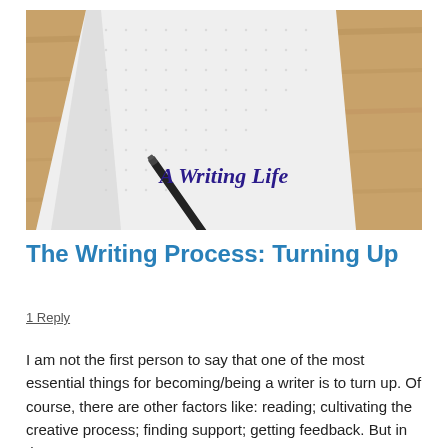[Figure (photo): A black pen resting on an open notebook with dot-grid paper, placed on a wooden surface. Text overlay reads 'A Writing Life' in bold dark blue/purple italic font.]
The Writing Process: Turning Up
1 Reply
I am not the first person to say that one of the most essential things for becoming/being a writer is to turn up. Of course, there are other factors like: reading; cultivating the creative process; finding support; getting feedback. But in the